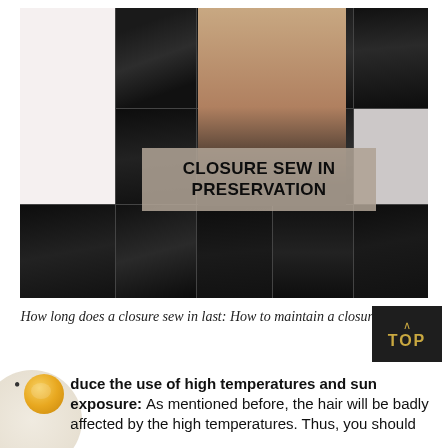[Figure (photo): Collage of hair extension products including closures, bundles, and wigs in various textures (straight, wavy, curly, deep wave), with a model wearing long wavy hair extensions, overlaid with text banner reading 'CLOSURE SEW IN PRESERVATION']
How long does a closure sew in last: How to maintain a closure sew in
Reduce the use of high temperatures and sun exposure: As mentioned before, the hair will be badly affected by the high temperatures. Thus, you should